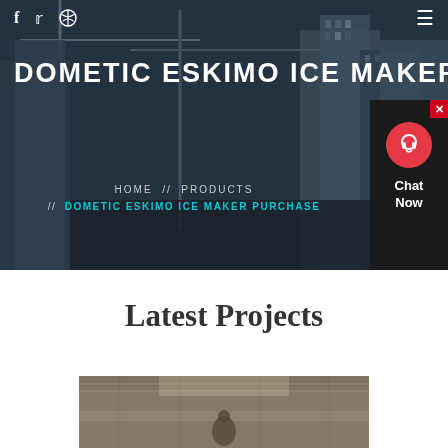DOMETIC ESKIMO ICE MAKER P
HOME // PRODUCTS // DOMETIC ESKIMO ICE MAKER PURCHASE
Latest Projects
[Figure (photo): Construction site with building under scaffold/scaffolding and workers, industrial interior view]
[Figure (screenshot): Chat widget popup with red circle chat icon, close button (x), and 'Chat Now' text on dark background]